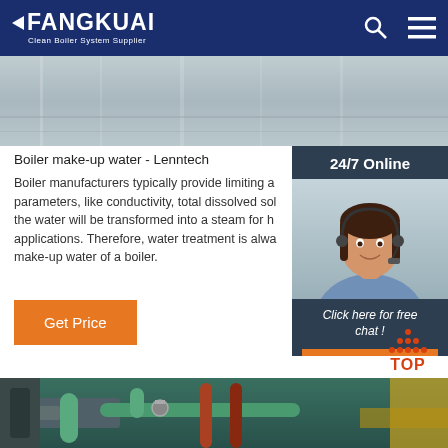FANGKUAI Clean Boiler System Supplier
[Figure (photo): Industrial facility hero banner image, grey/blue toned interior]
Boiler make-up water - Lenntech
Boiler manufacturers typically provide limiting a parameters, like conductivity, total dissolved sol the water will be transformed into a steam for h applications. Therefore, water treatment is alwa make-up water of a boiler.
[Figure (photo): Customer service agent woman with headset, smiling, for 24/7 Online chat widget]
24/7 Online
Click here for free chat !
QUOTATION
Get Price
[Figure (photo): Industrial boiler piping and equipment, green and red pipes, bottom of page]